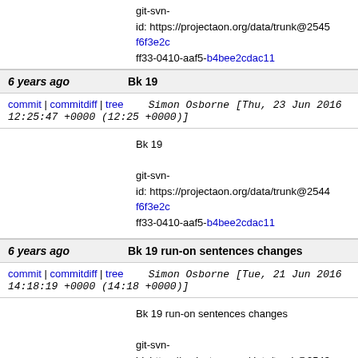git-svn-id: https://projectaon.org/data/trunk@2545 f6f3e2c...ff33-0410-aaf5-b4bee2cdac11
6 years ago   Bk 19
commit | commitdiff | tree   Simon Osborne [Thu, 23 Jun 2016 12:25:47 +0000 (12:25 +0000)]
Bk 19

git-svn-id: https://projectaon.org/data/trunk@2544 f6f3e2c...ff33-0410-aaf5-b4bee2cdac11
6 years ago   Bk 19 run-on sentences changes
commit | commitdiff | tree   Simon Osborne [Tue, 21 Jun 2016 14:18:19 +0000 (14:18 +0000)]
Bk 19 run-on sentences changes

git-svn-id: https://projectaon.org/data/trunk@2543 f6f3e2c...ff33-0410-aaf5-b4bee2cdac11
6 years ago   Bk 19 run-on sentences
commit | commitdiff | tree   Simon Osborne [Mon, 20 Jun 2016